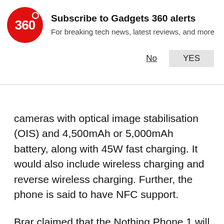[Figure (logo): Gadgets 360 red circle logo with '360' text]
Subscribe to Gadgets 360 alerts
For breaking tech news, latest reviews, and more
cameras with optical image stabilisation (OIS) and 4,500mAh or 5,000mAh battery, along with 45W fast charging. It would also include wireless charging and reverse wireless charging. Further, the phone is said to have NFC support.
Brar claimed that the Nothing Phone 1 will come with 15W wireless charging and 5W reverse wireless charging — both based on Qi standard. There would also be USB PD3.0/PPS for wired charging.
Nothing Phone 1 invite system